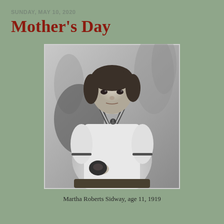SUNDAY, MAY 10, 2020
Mother's Day
[Figure (photo): Black and white portrait photograph of a young girl approximately 11 years old, seated, wearing a sailor-style dress with striped collar and anchor emblem, hair pulled back, looking directly at camera. Background shows faint foliage. Photo dated 1919.]
Martha Roberts Sidway, age 11, 1919